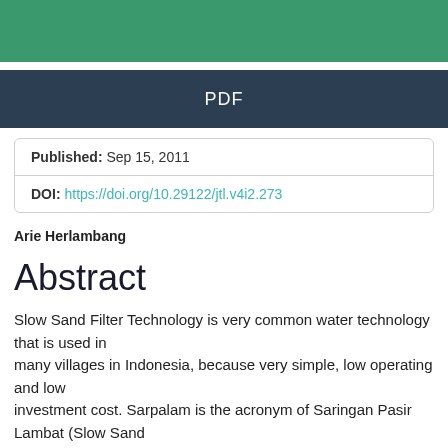[Figure (other): Green decorative header bar]
PDF
Published: Sep 15, 2011
DOI: https://doi.org/10.29122/jtl.v4i2.273
Arie Herlambang
Abstract
Slow Sand Filter Technology is very common water technology that is used in many villages in Indonesia, because very simple, low operating and low investment cost. Sarpalam is the acronym of Saringan Pasir Lambat (Slow Sand Filter). For optimal process, the system should meet with